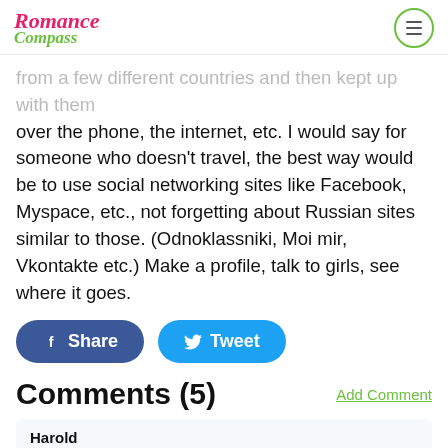Romance Compass
from a few different countries and then kept up with them over the phone, the internet, etc. I would say for someone who doesn't travel, the best way would be to use social networking sites like Facebook, Myspace, etc., not forgetting about Russian sites similar to those. (Odnoklassniki, Moi mir, Vkontakte etc.) Make a profile, talk to girls, see where it goes.
Share   Tweet
Comments (5)
Add Comment
Harold
thanks a lot, came in handy
15.10.2019 18:28
Adam
I find it very useful since it's my main goal now to meet a Russian w